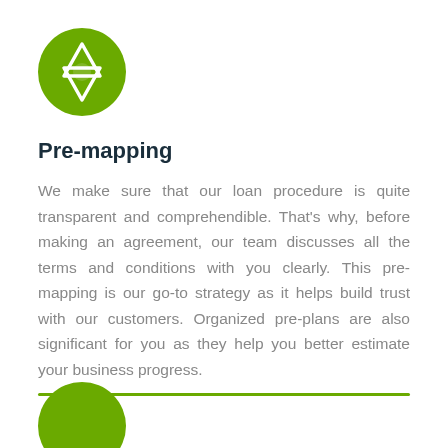[Figure (illustration): Green circle with a white star of David / gear-like hexagram icon inside]
Pre-mapping
We make sure that our loan procedure is quite transparent and comprehendible. That's why, before making an agreement, our team discusses all the terms and conditions with you clearly. This pre-mapping is our go-to strategy as it helps build trust with our customers. Organized pre-plans are also significant for you as they help you better estimate your business progress.